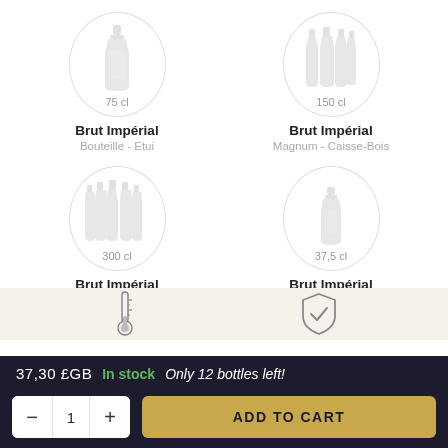[Figure (illustration): Four champagne bottle product cards in a 2x2 grid. Top-left: circle with single bottle icon labeled 75 cl. Top-right: circle with multiple bottles icon labeled 150 cl. Bottom-left: circle with multiple bottles labeled 300 cl. Bottom-right: circle with single small bottle labeled 37,5 cl.]
Brut Impérial
Bouteille - Etui
Brut Impérial
Magnum - Caisse-Bois
Brut Impérial
Jéroboam - Caisse-Bois
Brut Impérial
Demie-Bouteille - Nu
[Figure (illustration): Thermometer icon and shield with checkmark icon on a beige background section]
37,30 £GB  In stock  Only 12 bottles left!
ADD TO CART